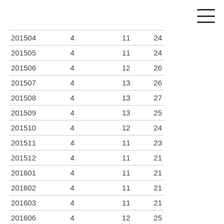| 201504 | 4 | 11 | 24 |
| 201505 | 4 | 11 | 24 |
| 201506 | 4 | 12 | 26 |
| 201507 | 4 | 13 | 26 |
| 201508 | 4 | 13 | 27 |
| 201509 | 4 | 13 | 25 |
| 201510 | 4 | 12 | 24 |
| 201511 | 4 | 11 | 23 |
| 201512 | 4 | 11 | 21 |
| 201601 | 4 | 11 | 21 |
| 201602 | 4 | 11 | 21 |
| 201603 | 4 | 11 | 21 |
| 201606 | 4 | 12 | 25 |